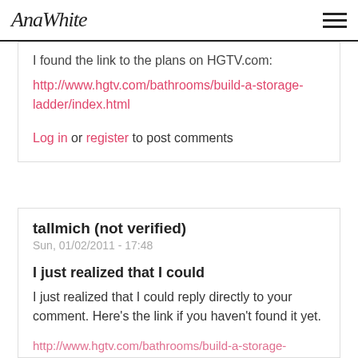AnaWhite
I found the link to the plans on HGTV.com:
http://www.hgtv.com/bathrooms/build-a-storage-ladder/index.html
Log in or register to post comments
tallmich (not verified)
Sun, 01/02/2011 - 17:48
I just realized that I could
I just realized that I could reply directly to your comment. Here's the link if you haven't found it yet.
http://www.hgtv.com/bathrooms/build-a-storage-ladder/index.html